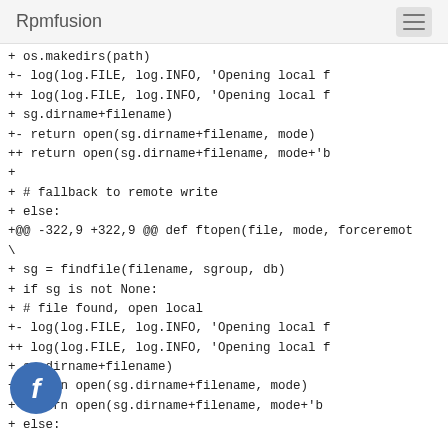Rpmfusion
Code diff showing ftopen function changes including log, return open, findfile, and else block lines